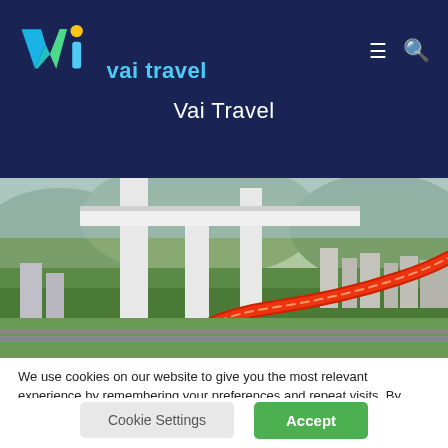[Figure (logo): Vai Travel logo with stylized 'W' and 'i' shapes in teal/blue/yellow on dark navy background, with text 'vai travel' in cyan]
Vai Travel
[Figure (photo): Aerial photo of a city highway interchange with a viaduct, curved red road, green trees, and urban buildings]
We use cookies on our website to give you the most relevant experience by remembering your preferences and repeat visits. By clicking “Accept”, you consent to the use of ALL the cookies.